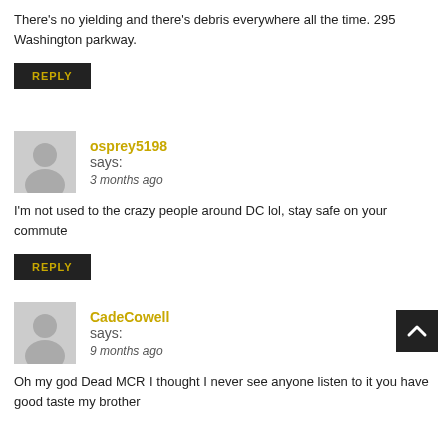There's no yielding and there's debris everywhere all the time. 295 Washington parkway.
REPLY
osprey5198 says:
3 months ago
I'm not used to the crazy people around DC lol, stay safe on your commute
REPLY
CadeCowell says:
9 months ago
Oh my god Dead MCR I thought I never see anyone listen to it you have good taste my brother